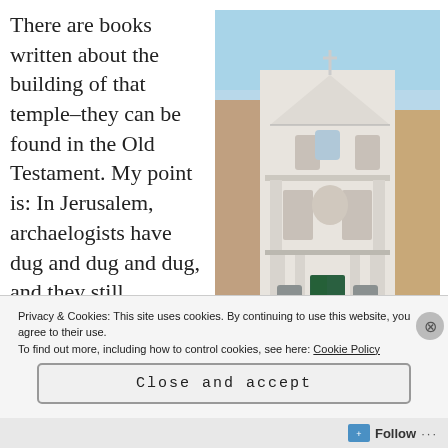There are books written about the building of that temple–they can be found in the Old Testament. My point is: In Jerusalem, archaelogists have dug and dug and dug, and they still
[Figure (photo): Photograph of a white Baroque church facade in Rome, with classical columns, pediment with a cross on top, arched doorways, and surrounding buildings visible.]
Privacy & Cookies: This site uses cookies. By continuing to use this website, you agree to their use. To find out more, including how to control cookies, see here: Cookie Policy
Close and accept
Follow